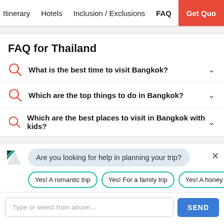Itinerary  Hotels  Inclusion / Exclusions  FAQ  Get Quote
FAQ for Thailand
What is the best time to visit Bangkok?
Which are the top things to do in Bangkok?
Which are the best places to visit in Bangkok with kids?
Are you looking for help in planning your trip?
Yes! A romantic trip  Yes! For a family trip  Yes! A honeymoon
Type or select from above...  SEND